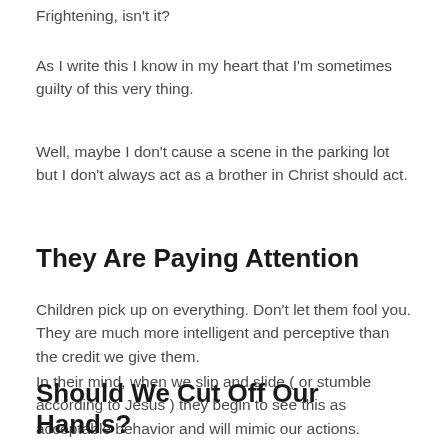Frightening, isn't it?
As I write this I know in my heart that I'm sometimes guilty of this very thing.
Well, maybe I don't cause a scene in the parking lot but I don't always act as a brother in Christ should act.
They Are Paying Attention
Children pick up on everything. Don't let them fool you. They are much more intelligent and perceptive than the credit we give them.
In their mind, when we slip and slide ( or stumble according to Jesus ) they begin to see this as acceptable behavior and will mimic our actions.
In other words, we have just taught them to sin!
Should We Cut Off Our Hands?